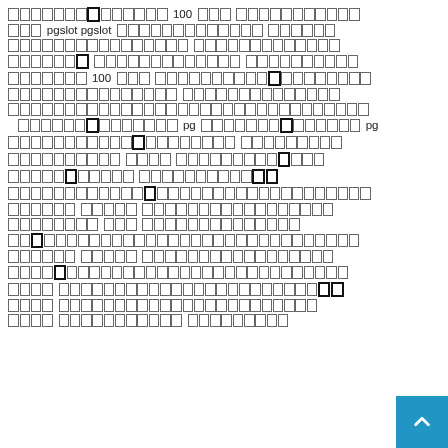Thai-language body text paragraph containing the Latin words '100', 'pgslot', 'pgslot', '100', 'pg', 'pg' interspersed throughout multiple lines of rectangular placeholder glyphs representing Thai script characters.